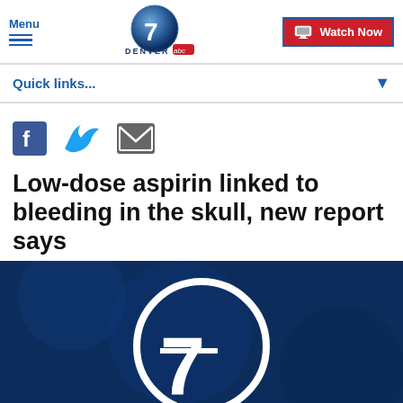Menu | Denver7 ABC | Watch Now
Quick links...
[Figure (illustration): Social media share icons: Facebook, Twitter, Email]
Low-dose aspirin linked to bleeding in the skull, new report says
[Figure (illustration): Denver7 ABC logo on dark blue background, large number 7 in white circle]